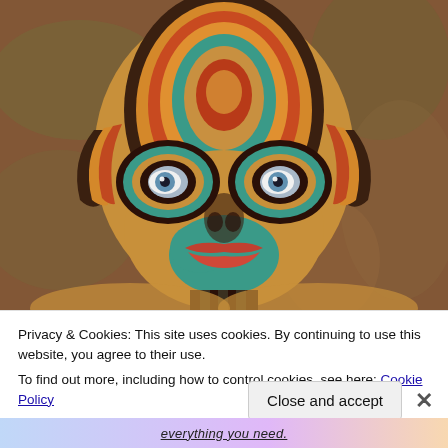[Figure (illustration): Colorful painted portrait of a face with concentric stripe patterns in brown, red, orange, teal/turquoise on the forehead and cheeks, with large blue eyes, orange lips, against a brown textured background. Abstract/expressionist painting style.]
Privacy & Cookies: This site uses cookies. By continuing to use this website, you agree to their use.
To find out more, including how to control cookies, see here: Cookie Policy
Close and accept
everything you need.